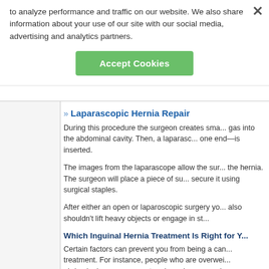to analyze performance and traffic on our website. We also share information about your use of our site with our social media, advertising and analytics partners.
Accept Cookies
Laparascopic Hernia Repair
During this procedure the surgeon creates sma... gas into the abdominal cavity. Then, a laparasc... one end—is inserted.
The images from the laparascope allow the sur... the hernia. The surgeon will place a piece of su... secure it using surgical staples.
After either an open or laparoscopic surgery yo... also shouldn't lift heavy objects or engage in st...
Which Inguinal Hernia Treatment Is Right for Y...
Certain factors can prevent you from being a can... treatment. For instance, people who are overwei... abdominal surgery, cannot undergo laparoscopic...
Your doctor will make the decision based on seve... condition, medical history, or the type of anesth...